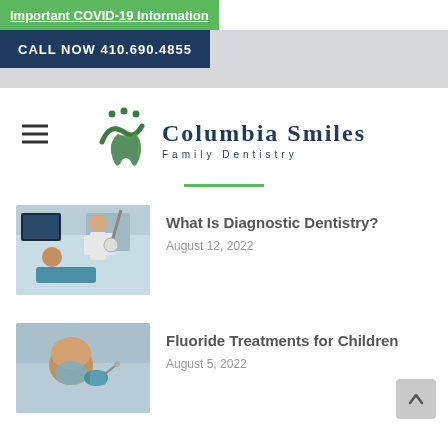Important COVID-19 Information
CALL NOW 410.690.4855
[Figure (logo): Columbia Smiles Family Dentistry logo with green tooth and figure icon]
What Is Diagnostic Dentistry?
August 12, 2022
[Figure (photo): Dentist examining patient with X-ray visible on screen]
Fluoride Treatments for Children
August 5, 2022
[Figure (photo): Child receiving dental fluoride treatment]